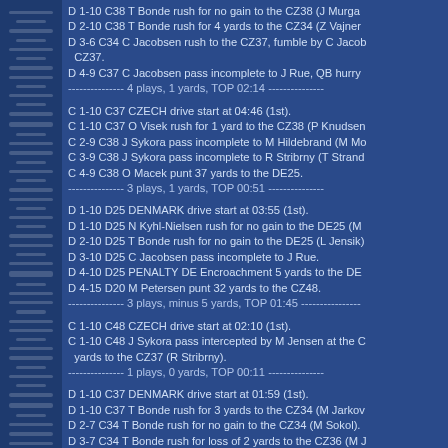D 1-10 C38 T Bonde rush for no gain to the CZ38 (J Murgas...
D 2-10 C38 T Bonde rush for 4 yards to the CZ34 (Z Vajner...
D 3-6 C34 C Jacobsen rush to the CZ37, fumble by C Jacobsen recovered at CZ37.
D 4-9 C37 C Jacobsen pass incomplete to J Rue, QB hurry...
--------------- 4 plays, 1 yards, TOP 02:14 ---------------

C 1-10 C37 CZECH drive start at 04:46 (1st).
C 1-10 C37 O Visek rush for 1 yard to the CZ38 (P Knudsen...
C 2-9 C38 J Sykora pass incomplete to M Hildebrand (M Mo...
C 3-9 C38 J Sykora pass incomplete to R Stribrny (T Strand...
C 4-9 C38 O Macek punt 37 yards to the DE25.
--------------- 3 plays, 1 yards, TOP 00:51 ---------------

D 1-10 D25 DENMARK drive start at 03:55 (1st).
D 1-10 D25 N Kyhl-Nielsen rush for no gain to the DE25 (M...
D 2-10 D25 T Bonde rush for no gain to the DE25 (L Jensik...
D 3-10 D25 C Jacobsen pass incomplete to J Rue.
D 4-10 D25 PENALTY DE Encroachment 5 yards to the DE...
D 4-15 D20 M Petersen punt 32 yards to the CZ48.
--------------- 3 plays, minus 5 yards, TOP 01:45 ---------------

C 1-10 C48 CZECH drive start at 02:10 (1st).
C 1-10 C48 J Sykora pass intercepted by M Jensen at the C... yards to the CZ37 (R Stribrny).
--------------- 1 plays, 0 yards, TOP 00:11 ---------------

D 1-10 C37 DENMARK drive start at 01:59 (1st).
D 1-10 C37 T Bonde rush for 3 yards to the CZ34 (M Jarkov...
D 2-7 C34 T Bonde rush for no gain to the CZ34 (M Sokol).
D 3-7 C34 T Bonde rush for loss of 2 yards to the CZ36 (M...

--- END OF 1st QUARTER ---